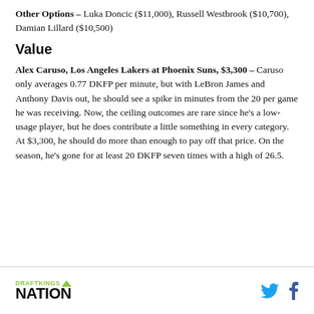Other Options – Luka Doncic ($11,000), Russell Westbrook ($10,700), Damian Lillard ($10,500)
Value
Alex Caruso, Los Angeles Lakers at Phoenix Suns, $3,300 – Caruso only averages 0.77 DKFP per minute, but with LeBron James and Anthony Davis out, he should see a spike in minutes from the 20 per game he was receiving. Now, the ceiling outcomes are rare since he's a low-usage player, but he does contribute a little something in every category. At $3,300, he should do more than enough to pay off that price. On the season, he's gone for at least 20 DKFP seven times with a high of 26.5.
DRAFTKINGS NATION